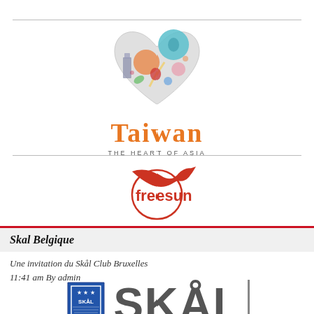[Figure (logo): Taiwan The Heart of Asia logo with heart shape containing cultural imagery, orange Taiwan text and tagline]
[Figure (logo): Freesun logo with bird/pen swoosh graphic above circular element and orange/red freesun text]
Skal Belgique
Une invitation du Skål Club Bruxelles
11:41 am By admin
[Figure (logo): Skål international logo with shield emblem and large SKÅL text in grey]